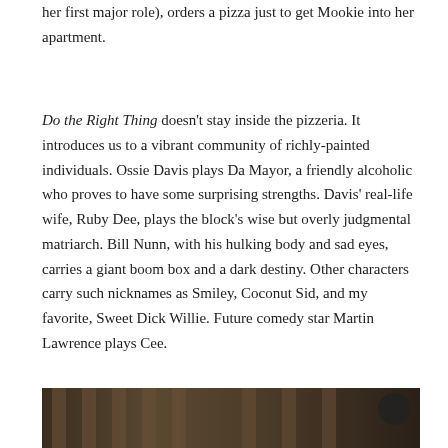her first major role), orders a pizza just to get Mookie into her apartment.
Do the Right Thing doesn't stay inside the pizzeria. It introduces us to a vibrant community of richly-painted individuals. Ossie Davis plays Da Mayor, a friendly alcoholic who proves to have some surprising strengths. Davis' real-life wife, Ruby Dee, plays the block's wise but overly judgmental matriarch. Bill Nunn, with his hulking body and sad eyes, carries a giant boom box and a dark destiny. Other characters carry such nicknames as Smiley, Coconut Sid, and my favorite, Sweet Dick Willie. Future comedy star Martin Lawrence plays Cee.
[Figure (photo): A partially visible photo at the bottom of the page showing what appears to be people in an urban or indoor setting, with dark tones.]